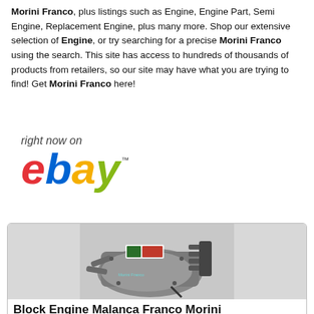Morini Franco, plus listings such as Engine, Engine Part, Semi Engine, Replacement Engine, plus many more. Shop our extensive selection of Engine, or try searching for a precise Morini Franco using the search. This site has access to hundreds of thousands of products from retailers, so our site may have what you are trying to find! Get Morini Franco here!
[Figure (logo): eBay logo with 'right now on' text above it. The word 'ebay' is displayed in large colorful letters: e in red, b in blue, a in yellow, y in green, with TM superscript.]
[Figure (photo): Photo of a Block Engine Malanca Franco Morini motorcycle engine component, silver/gray colored, displayed on a white surface with a label sticker on it.]
Block Engine Malanca Franco Morini